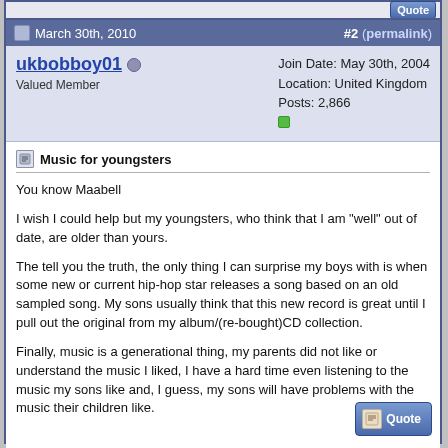March 30th, 2010  #2 (permalink)
ukbobboy01 | Valued Member | Join Date: May 30th, 2004 | Location: United Kingdom | Posts: 2,866
Music for youngsters
You know Maabell

I wish I could help but my youngsters, who think that I am "well" out of date, are older than yours.

The tell you the truth, the only thing I can surprise my boys with is when some new or current hip-hop star releases a song based on an old sampled song. My sons usually think that this new record is great until I pull out the original from my album/(re-bought)CD collection.

Finally, music is a generational thing, my parents did not like or understand the music I liked, I have a hard time even listening to the music my sons like and, I guess, my sons will have problems with the music their children like.


UK Bob